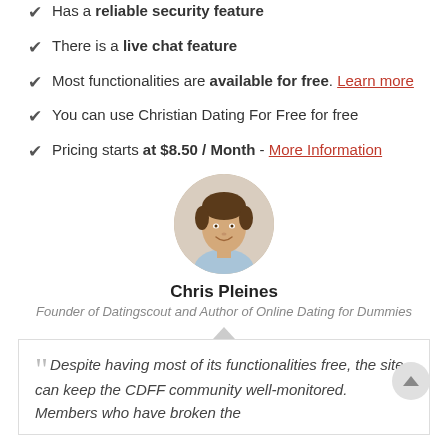Has a reliable security feature
There is a live chat feature
Most functionalities are available for free. Learn more
You can use Christian Dating For Free for free
Pricing starts at $8.50 / Month - More Information
[Figure (photo): Circular headshot of Chris Pleines, a man with dark hair wearing a light blue shirt]
Chris Pleines
Founder of Datingscout and Author of Online Dating for Dummies
Despite having most of its functionalities free, the site can keep the CDFF community well-monitored. Members who have broken the